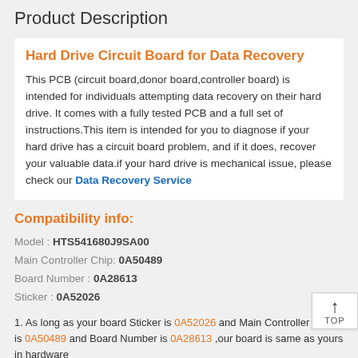Product Description
Hard Drive Circuit Board for Data Recovery
This PCB (circuit board,donor board,controller board) is intended for individuals attempting data recovery on their hard drive. It comes with a fully tested PCB and a full set of instructions.This item is intended for you to diagnose if your hard drive has a circuit board problem, and if it does, recover your valuable data.if your hard drive is mechanical issue, please check our Data Recovery Service
Compatibility info:
Model : HTS541680J9SA00
Main Controller Chip: 0A50489
Board Number : 0A28613
Sticker : 0A52026
1. As long as your board Sticker is 0A52026 and Main Controller Chip is 0A50489 and Board Number is 0A28613 ,our board is same as yours in hardware
2. For this model hard drive(even identical from outside),every PCB BIOS IC